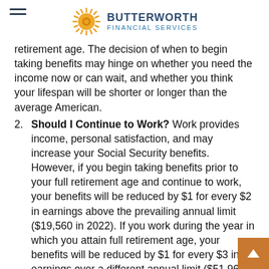BUTTERWORTH FINANCIAL SERVICES
retirement age. The decision of when to begin taking benefits may hinge on whether you need the income now or can wait, and whether you think your lifespan will be shorter or longer than the average American.
2. Should I Continue to Work? Work provides income, personal satisfaction, and may increase your Social Security benefits. However, if you begin taking benefits prior to your full retirement age and continue to work, your benefits will be reduced by $1 for every $2 in earnings above the prevailing annual limit ($19,560 in 2022). If you work during the year in which you attain full retirement age, your benefits will be reduced by $1 for every $3 in earnings over a different annual limit ($51,960 in 2022) until the month you reach full retirement age. After you attain your full retirement age, your earnings no longer...